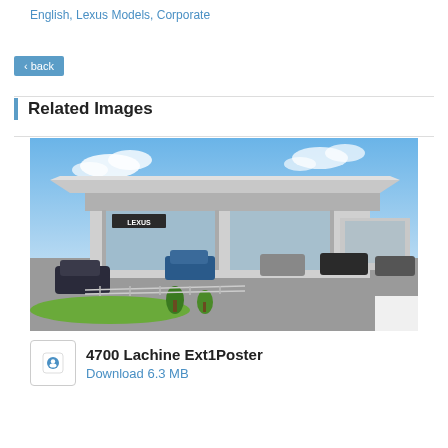English, Lexus Models, Corporate
‹ back
Related Images
[Figure (photo): Architectural rendering of a Lexus dealership exterior, showing a modern building with large glass windows, a canopy roof, Lexus signage, cars in the parking lot, and landscaping with trees.]
4700 Lachine Ext1Poster
Download 6.3 MB